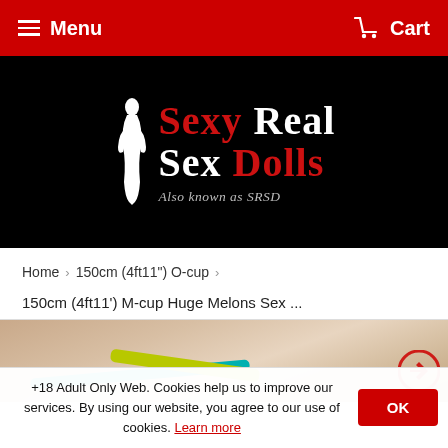Menu  Cart
[Figure (logo): Sexy Real Sex Dolls logo with silhouette figure on black background. Text reads 'SEXY REAL SEX DOLLS - Also known as SRSD']
Home > 150cm (4ft11") O-cup >
150cm (4ft11') M-cup Huge Melons Sex ...
[Figure (photo): Close-up product photo showing a sex doll wearing teal and yellow bikini straps]
+18 Adult Only Web. Cookies help us to improve our services. By using our website, you agree to our use of cookies. Learn more